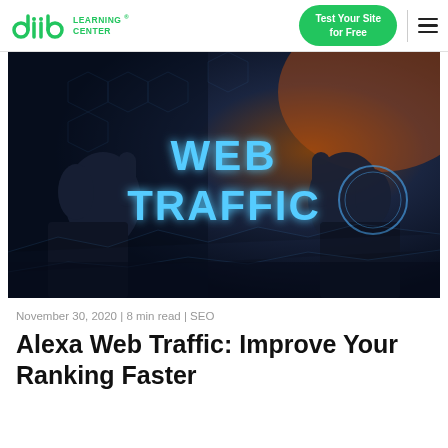diib LEARNING CENTER
[Figure (photo): Person holding glowing blue text 'WEB TRAFFIC' in dark background with orange light on right side]
November 30, 2020 | 8 min read | SEO
Alexa Web Traffic: Improve Your Ranking Faster